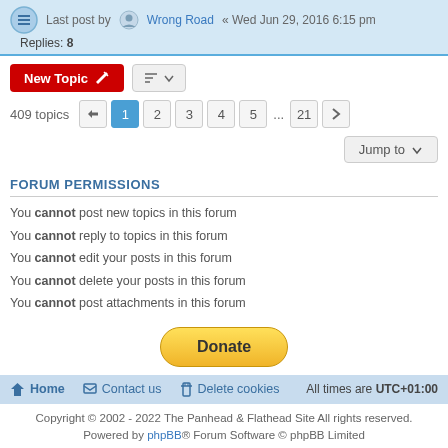Last post by Wrong Road « Wed Jun 29, 2016 6:15 pm
Replies: 8
409 topics  1 2 3 4 5 ... 21
Jump to
FORUM PERMISSIONS
You cannot post new topics in this forum
You cannot reply to topics in this forum
You cannot edit your posts in this forum
You cannot delete your posts in this forum
You cannot post attachments in this forum
[Figure (other): Donate button (PayPal)]
Home  Contact us  Delete cookies  All times are UTC+01:00
Copyright © 2002 - 2022 The Panhead & Flathead Site All rights reserved.
Powered by phpBB® Forum Software © phpBB Limited
phpBB SiteMaker
Privacy | Terms